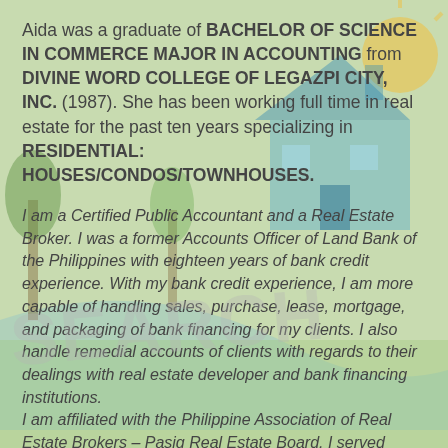Aida was a graduate of BACHELOR OF SCIENCE IN COMMERCE MAJOR IN ACCOUNTING from DIVINE WORD COLLEGE OF LEGAZPI CITY, INC. (1987). She has been working full time in real estate for the past ten years specializing in RESIDENTIAL: HOUSES/CONDOS/TOWNHOUSES.
I am a Certified Public Accountant and a Real Estate Broker. I was a former Accounts Officer of Land Bank of the Philippines with eighteen years of bank credit experience. With my bank credit experience, I am more capable of handling sales, purchase, lease, mortgage, and packaging of bank financing for my clients. I also handle remedial accounts of clients with regards to their dealings with real estate developer and bank financing institutions. I am affiliated with the Philippine Association of Real Estate Brokers – Pasig Real Estate Board. I served PAREB Pasig for